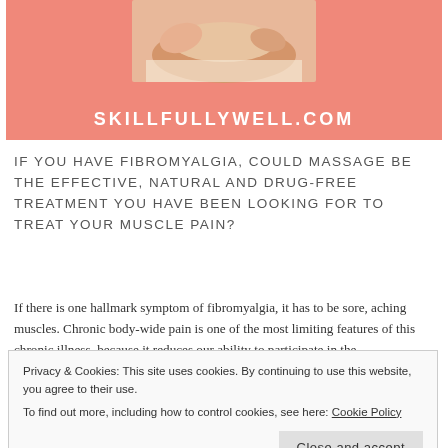[Figure (photo): Pink banner with a photo of hands giving a massage to a person's neck/shoulder, and the URL SKILLFULLYWELL.COM displayed in white capital letters at the bottom of the banner.]
IF YOU HAVE FIBROMYALGIA, COULD MASSAGE BE THE EFFECTIVE, NATURAL AND DRUG-FREE TREATMENT YOU HAVE BEEN LOOKING FOR TO TREAT YOUR MUSCLE PAIN?
If there is one hallmark symptom of fibromyalgia, it has to be sore, aching muscles. Chronic body-wide pain is one of the most limiting features of this chronic illness, because it reduces our ability to participate in the
Privacy & Cookies: This site uses cookies. By continuing to use this website, you agree to their use.
To find out more, including how to control cookies, see here: Cookie Policy
alternative treatments. I don't know about you, but